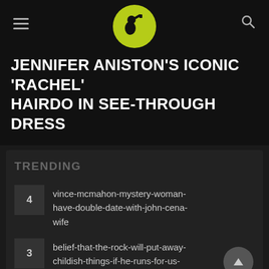Navigation header with hamburger menu, logo, and search icon
JENNIFER ANISTON'S ICONIC 'RACHEL' HAIRDO IN SEE-THROUGH DRESS
TRENDING
4 vince-mcmahon-mystery-woman-have-double-date-with-john-cena-wife
3 belief-that-the-rock-will-put-away-childish-things-if-he-runs-for-us-